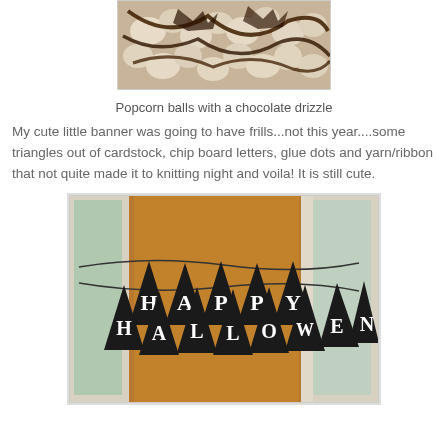[Figure (photo): Close-up photo of popcorn balls with chocolate drizzle]
Popcorn balls with a chocolate drizzle
My cute little banner was going to have frills...not this year....some triangles out of cardstock, chip board letters, glue dots and yarn/ribbon that not quite made it to knitting night and voila! It is still cute.
[Figure (photo): Photo of a Happy Halloween pennant banner hanging on a door with a wooden background]